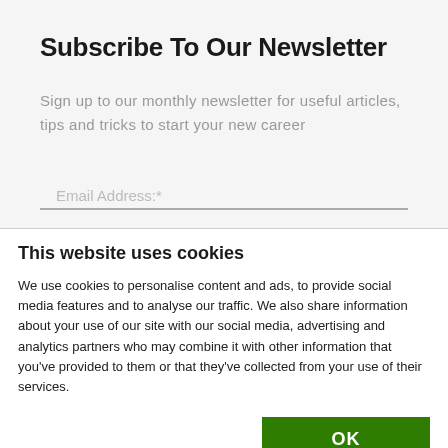Subscribe To Our Newsletter
Sign up to our monthly newsletter for useful articles, tips and tricks to start your new career
Email Address:*
This website uses cookies
We use cookies to personalise content and ads, to provide social media features and to analyse our traffic. We also share information about your use of our site with our social media, advertising and analytics partners who may combine it with other information that you've provided to them or that they've collected from your use of their services.
OK
Necessary  Preferences  Statistics  Marketing  Show details